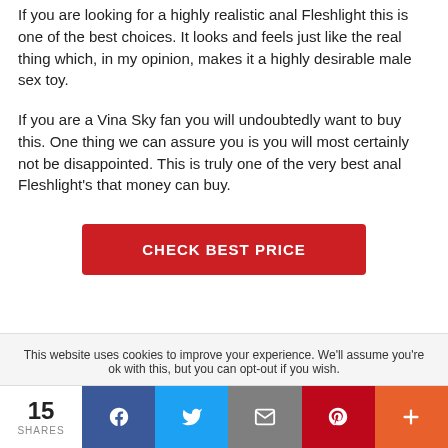If you are looking for a highly realistic anal Fleshlight this is one of the best choices. It looks and feels just like the real thing which, in my opinion, makes it a highly desirable male sex toy.
If you are a Vina Sky fan you will undoubtedly want to buy this. One thing we can assure you is you will most certainly not be disappointed. This is truly one of the very best anal Fleshlight’s that money can buy.
CHECK BEST PRICE
This website uses cookies to improve your experience. We’ll assume you’re ok with this, but you can opt-out if you wish.
15 SHARES | Facebook | Twitter | Email | Pinterest | More